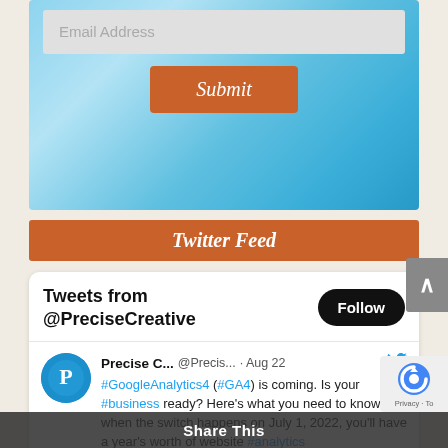[Figure (screenshot): Email address input field on a blue swirl background]
Email Address
Submit
Twitter Feed
Tweets from @PreciseCreative
Follow
Precise C... @Precis... · Aug 22
#GoogleAnalytics4 (#GA4) is coming. Is your #business ready? Here's what you need to know, so when the switch happens on July 1, 2022, you'll have a year's worth of website #analytics
Share This